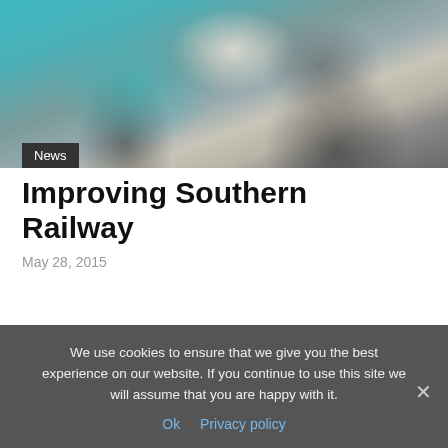[Figure (photo): Two people, one wearing a teal/turquoise blazer, holding and looking at a document or map together. A third person in dark clothing is partially visible on the right.]
News
Improving Southern Railway
May 28, 2015
We use cookies to ensure that we give you the best experience on our website. If you continue to use this site we will assume that you are happy with it.
Ok   Privacy policy